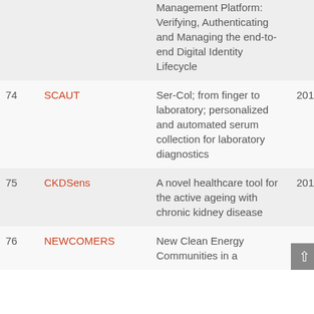| # | Acronym | Description | Year |
| --- | --- | --- | --- |
|  |  | Management Platform: Verifying, Authenticating and Managing the end-to-end Digital Identity Lifecycle |  |
| 74 | SCAUT | Ser-Col; from finger to laboratory; personalized and automated serum collection for laboratory diagnostics | 201 |
| 75 | CKDSens | A novel healthcare tool for the active ageing with chronic kidney disease | 201 |
| 76 | NEWCOMERS | New Clean Energy Communities in a | 201 |